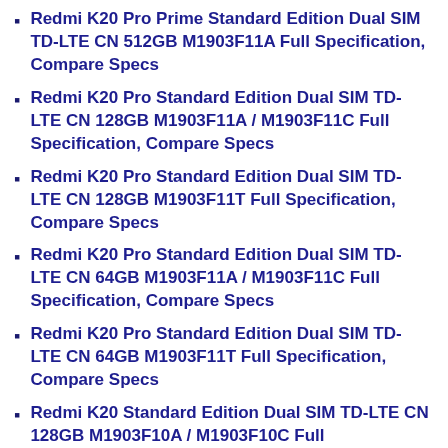Redmi K20 Pro Prime Standard Edition Dual SIM TD-LTE CN 512GB M1903F11A Full Specification, Compare Specs
Redmi K20 Pro Standard Edition Dual SIM TD-LTE CN 128GB M1903F11A / M1903F11C Full Specification, Compare Specs
Redmi K20 Pro Standard Edition Dual SIM TD-LTE CN 128GB M1903F11T Full Specification, Compare Specs
Redmi K20 Pro Standard Edition Dual SIM TD-LTE CN 64GB M1903F11A / M1903F11C Full Specification, Compare Specs
Redmi K20 Pro Standard Edition Dual SIM TD-LTE CN 64GB M1903F11T Full Specification, Compare Specs
Redmi K20 Standard Edition Dual SIM TD-LTE CN 128GB M1903F10A / M1903F10C Full Specification, Compare Specs